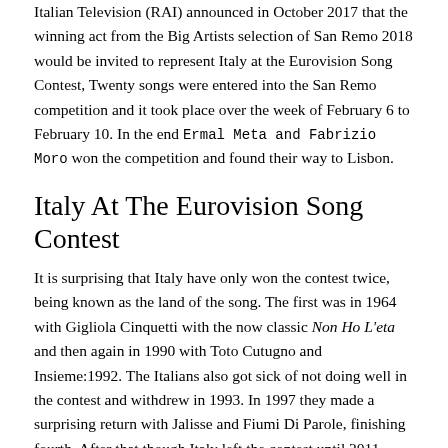Italian Television (RAI) announced in October 2017 that the winning act from the Big Artists selection of San Remo 2018 would be invited to represent Italy at the Eurovision Song Contest, Twenty songs were entered into the San Remo competition and it took place over the week of February 6 to February 10. In the end Ermal Meta and Fabrizio Moro won the competition and found their way to Lisbon.
Italy At The Eurovision Song Contest
It is surprising that Italy have only won the contest twice, being known as the land of the song. The first was in 1964 with Gigliola Cinquetti with the now classic Non Ho L'eta and then again in 1990 with Toto Cutugno and Insieme:1992. The Italians also got sick of not doing well in the contest and withdrew in 1993. In 1997 they made a surprising return with Jalisse and Fiumi Di Parole, finishing fourth. After that though Italy left the contest until 2011 making a remarkable return finishing second with Raphael Gualazzi and Madness Of Love. They have not won since their return but were highly fancied